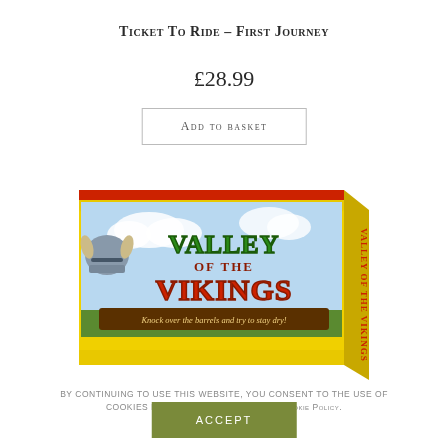Ticket To Ride – First Journey
£28.99
Add to basket
[Figure (photo): Product box image for Valley of the Vikings board game — yellow box with green and red lettering showing 'Valley of the Vikings' and subtitle 'Knock over the barrels and try to stay dry!']
By continuing to use this website, you consent to the use of cookies in accordance with our Cookie Policy.
Accept